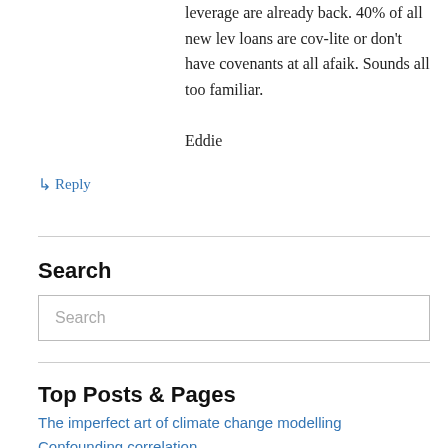leverage are already back. 40% of all new lev loans are cov-lite or don't have covenants at all afaik. Sounds all too familiar.

Eddie
↳ Reply
Search
Search
Top Posts & Pages
The imperfect art of climate change modelling
Confounding correlation